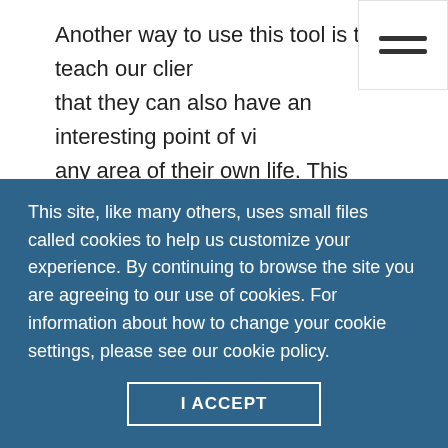Another way to use this tool is to teach our clients that they can also have an interesting point of view in any area of their own life. This can help them detach from the high level of emotions that prevent them from going beyond the problem. What might this approach add to your daily life inside and outside of your counseling practice?
5) Ask questions, never give answers. As counselors,
This site, like many others, uses small files called cookies to help us customize your experience. By continuing to browse the site you are agreeing to our use of cookies. For information about how to change your cookie settings, please see our cookie policy.
I ACCEPT